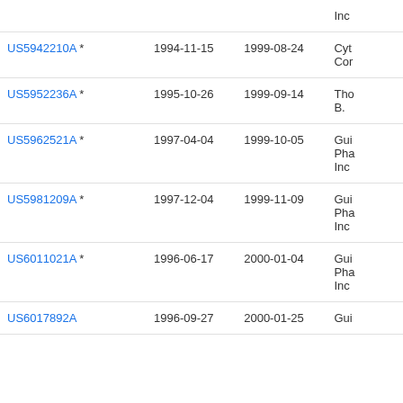| Patent | Filed | Published | Assignee |
| --- | --- | --- | --- |
|  |  |  | Inc |
| US5942210A * | 1994-11-15 | 1999-08-24 | Cyt
Cor |
| US5952236A * | 1995-10-26 | 1999-09-14 | Tho
B. |
| US5962521A * | 1997-04-04 | 1999-10-05 | Gui
Pha
Inc |
| US5981209A * | 1997-12-04 | 1999-11-09 | Gui
Pha
Inc |
| US6011021A * | 1996-06-17 | 2000-01-04 | Gui
Pha
Inc |
| US6017892A | 1996-09-27 | 2000-01-25 | Gui |